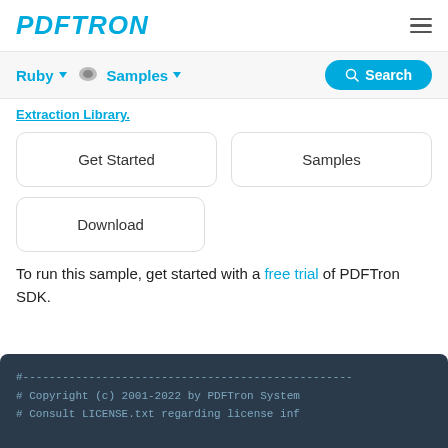PDFTRON
Ruby   Samples
Extraction Library.
Get Started
Samples
Download
To run this sample, get started with a free trial of PDFTron SDK.
[Figure (screenshot): Code block showing Ruby copyright header: #---... # Copyright (c) 2001-2022 by PDFTron System # Consult LICENSE.txt regarding license inf]